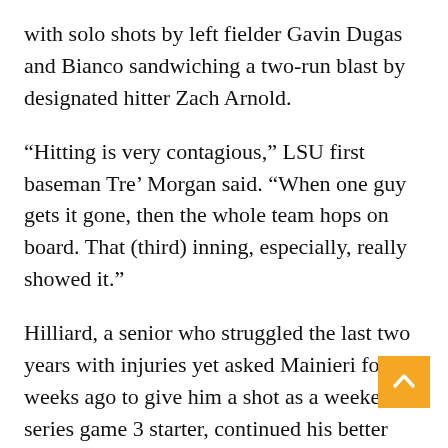with solo shots by left fielder Gavin Dugas and Bianco sandwiching a two-run blast by designated hitter Zach Arnold.
“Hitting is very contagious,” LSU first baseman Tre’ Morgan said. “When one guy gets it gone, then the whole team hops on board. That (third) inning, especially, really showed it.”
Hilliard, a senior who struggled the last two years with injuries yet asked Mainieri four weeks ago to give him a shot as a weekend series game 3 starter, continued his better late-than-never career comeback.
He held A&M to two runs on six hits in a much-needed 80-pitch outing that spanned seven innings, two more than Mainieri counted on.
Hilliard’s two strikeouts came in the first inning. Aft that, he did what he usually does, which is get batters out with grounders, in-zone and balls, including double…